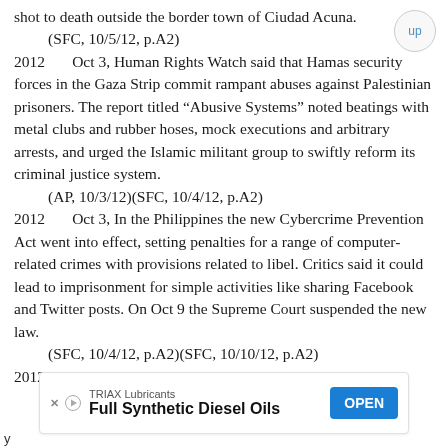shot to death outside the border town of Ciudad Acuna.
    (SFC, 10/5/12, p.A2)
2012       Oct 3, Human Rights Watch said that Hamas security forces in the Gaza Strip commit rampant abuses against Palestinian prisoners. The report titled “Abusive Systems” noted beatings with metal clubs and rubber hoses, mock executions and arbitrary arrests, and urged the Islamic militant group to swiftly reform its criminal justice system.
    (AP, 10/3/12)(SFC, 10/4/12, p.A2)
2012       Oct 3, In the Philippines the new Cybercrime Prevention Act went into effect, setting penalties for a range of computer-related crimes with provisions related to libel. Critics said it could lead to imprisonment for simple activities like sharing Facebook and Twitter posts. On Oct 9 the Supreme Court suspended the new law.
    (SFC, 10/4/12, p.A2)(SFC, 10/10/12, p.A2)
2012       Oct 3, Serbia's police banned a gay
[Figure (other): Advertisement banner: TRIAX Lubricants - Full Synthetic Diesel Oils - OPEN button]